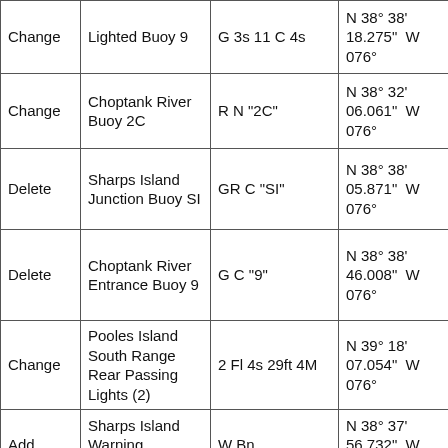| Action | Name | Characteristic | Latitude | Longitude |
| --- | --- | --- | --- | --- |
| Change | Lighted Buoy 9 | G 3s 11 C 4s | N 38° 38' 18.275" | W 076° |
| Change | Choptank River Buoy 2C | R N "2C" | N 38° 32' 06.061" | W 076° |
| Delete | Sharps Island Junction Buoy SI | GR C "SI" | N 38° 38' 05.871" | W 076° |
| Delete | Choptank River Entrance Buoy 9 | G C "9" | N 38° 38' 46.008" | W 076° |
| Change | Pooles Island South Range Rear Passing Lights (2) | 2 Fl 4s 29ft 4M | N 39° 18' 07.054" | W 076° |
| Add | Sharps Island Warning Daybeacon | W Bn | N 38° 37' 56.732" | W 076° |
| Delete | Sharps Island Ice Breaker Buoy | GR C | N 38° 37' 56.732" | W 076° |
|  | Upper |  |  |  |